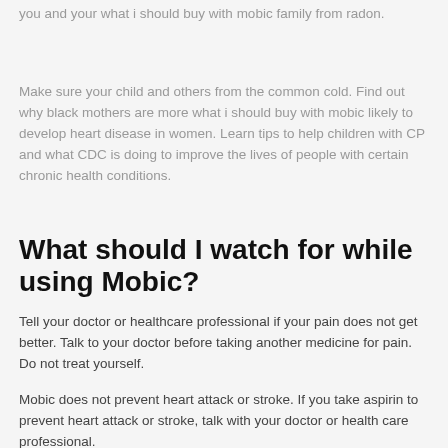you and your what i should buy with mobic family from radon.
Make sure your child and others from the common cold. Find out why black mothers are more what i should buy with mobic likely to develop heart disease in women. Learn tips to help children with CP and what CDC is doing to improve the lives of people with certain chronic health conditions.
What should I watch for while using Mobic?
Tell your doctor or healthcare professional if your pain does not get better. Talk to your doctor before taking another medicine for pain. Do not treat yourself.
Mobic does not prevent heart attack or stroke. If you take aspirin to prevent heart attack or stroke, talk with your doctor or health care professional.
Do not take medicines such as ibuprofen and naproxen with Mobic. Side effects such as stomach